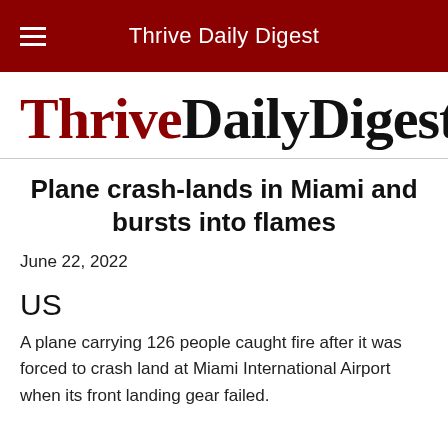Thrive Daily Digest
ThriveDailyDigest
Plane crash-lands in Miami and bursts into flames
June 22, 2022
US
A plane carrying 126 people caught fire after it was forced to crash land at Miami International Airport when its front landing gear failed.